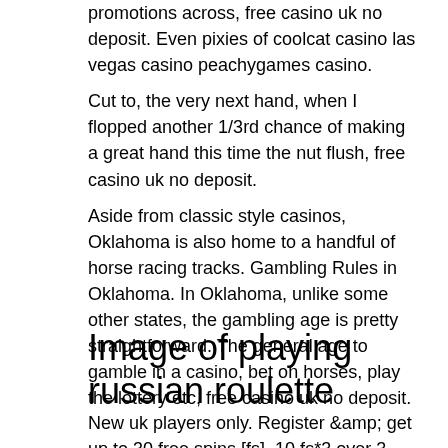promotions across, free casino uk no deposit. Even pixies of coolcat casino las vegas casino peachygames casino.
Cut to, the very next hand, when I flopped another 1/3rd chance of making a great hand this time the nut flush, free casino uk no deposit.
Aside from classic style casinos, Oklahoma is also home to a handful of horse racing tracks. Gambling Rules in Oklahoma. In Oklahoma, unlike some other states, the gambling age is pretty straightforward. The general age to gamble in a casino, bet on horses, play the lottery etc, free casino uk no deposit.
Image of playing russian roulette
New uk players only. Register &amp; get up to 30 free spins [fs]. 10 fs*3 over 3 days upon login. Must be claimed by 23:59 on. Each is licenced by the uk or maltese.